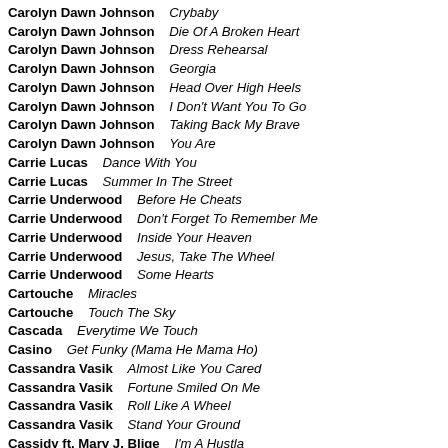Carolyn Dawn Johnson   Crybaby
Carolyn Dawn Johnson   Die Of A Broken Heart
Carolyn Dawn Johnson   Dress Rehearsal
Carolyn Dawn Johnson   Georgia
Carolyn Dawn Johnson   Head Over High Heels
Carolyn Dawn Johnson   I Don't Want You To Go
Carolyn Dawn Johnson   Taking Back My Brave
Carolyn Dawn Johnson   You Are
Carrie Lucas   Dance With You
Carrie Lucas   Summer In The Street
Carrie Underwood   Before He Cheats
Carrie Underwood   Don't Forget To Remember Me
Carrie Underwood   Inside Your Heaven
Carrie Underwood   Jesus, Take The Wheel
Carrie Underwood   Some Hearts
Cartouche   Miracles
Cartouche   Touch The Sky
Cascada   Everytime We Touch
Casino   Get Funky (Mama He Mama Ho)
Cassandra Vasik   Almost Like You Cared
Cassandra Vasik   Fortune Smiled On Me
Cassandra Vasik   Roll Like A Wheel
Cassandra Vasik   Stand Your Ground
Cassidy ft. Mary J. Blige   I'm A Hustla
Cassidy ft. R. Kelly   Hotel